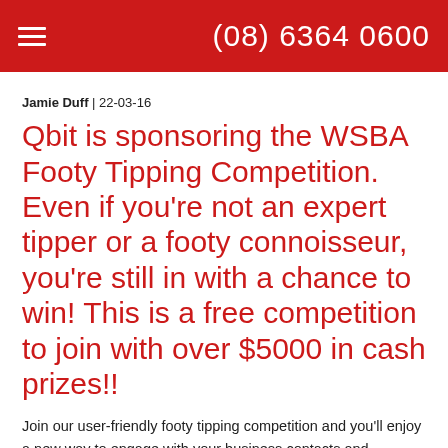(08) 6364 0600
Jamie Duff | 22-03-16
Qbit is sponsoring the WSBA Footy Tipping Competition. Even if you're not an expert tipper or a footy connoisseur, you're still in with a chance to win! This is a free competition to join with over $5000 in cash prizes!!
Join our user-friendly footy tipping competition and you'll enjoy a new way to engage with your business contacts and colleagues. We'll be recognising weekly winners at our